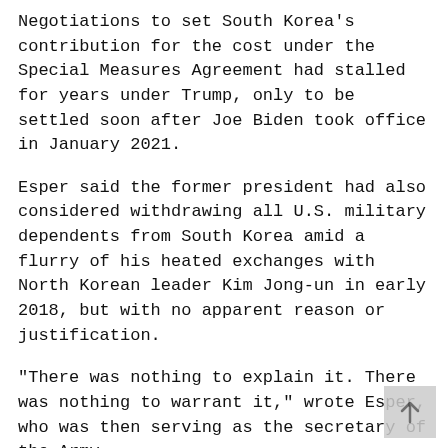Negotiations to set South Korea's contribution for the cost under the Special Measures Agreement had stalled for years under Trump, only to be settled soon after Joe Biden took office in January 2021.
Esper said the former president had also considered withdrawing all U.S. military dependents from South Korea amid a flurry of his heated exchanges with North Korean leader Kim Jong-un in early 2018, but with no apparent reason or justification.
"There was nothing to explain it. There was nothing to warrant it," wrote Esper, who was then serving as the secretary of the Army.
Esper noted the order, if it had been made, could have been interpreted that way, "as the beginning...